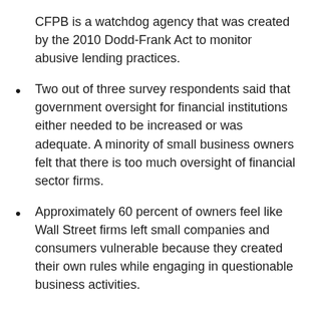CFPB is a watchdog agency that was created by the 2010 Dodd-Frank Act to monitor abusive lending practices.
Two out of three survey respondents said that government oversight for financial institutions either needed to be increased or was adequate. A minority of small business owners felt that there is too much oversight of financial sector firms.
Approximately 60 percent of owners feel like Wall Street firms left small companies and consumers vulnerable because they created their own rules while engaging in questionable business activities.